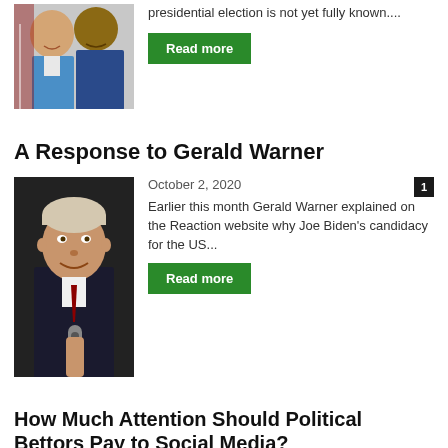[Figure (photo): Two men, partial view, cropped photo at top of page]
presidential election is not yet fully known....
Read more
A Response to Gerald Warner
[Figure (photo): Man in dark suit holding a microphone, smiling]
October 2, 2020
Earlier this month Gerald Warner explained on the Reaction website why Joe Biden's candidacy for the US...
Read more
How Much Attention Should Political Bettors Pay to Social Media?
[Figure (photo): Partial photo, blue sky background, cropped at bottom]
September 17, 2020
Social media has influenced our lives in ways